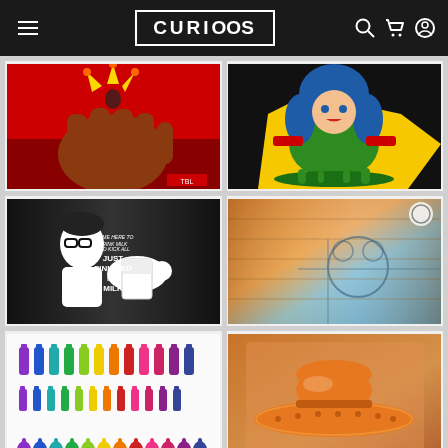CURIOOS - Online Art Marketplace
[Figure (illustration): Pop art style image: large red fist holding a yellow jester figure with a woman on red background]
[Figure (illustration): Comic book style illustration of a woman with blue hair in green superhero costume on black background with yellow accents]
[Figure (illustration): Black and white graphic art: man with glasses holding milk carton with bold text about milk]
[Figure (illustration): Abstract artistic photo/print with orange-brown wood tones and blue accent on reflective surface]
[Figure (illustration): Colorful illustration of rows of different bottle silhouettes in rainbow colors on white background]
[Figure (illustration): Cartoon-style illustration featuring a large orange sombrero hat on a brown/copper background]